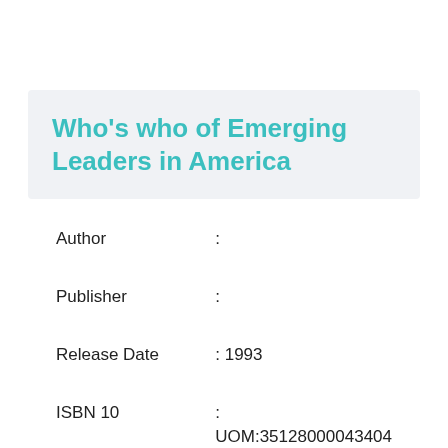Who's who of Emerging Leaders in America
| Field | Value |
| --- | --- |
| Author | : |
| Publisher | : |
| Release Date | : 1993 |
| ISBN 10 | : UOM:35128000043404 |